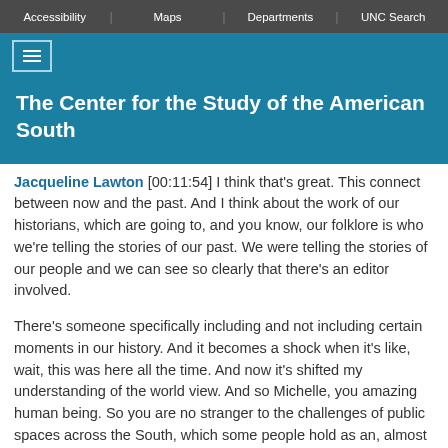Accessibility | Maps | Departments | UNC Search
The Center for the Study of the American South
Jacqueline Lawton: [00:11:54] I think that's great. This connect between now and the past. And I think about the work of our historians, which are going to, and you know, our folklore is who we're telling the stories of our past. We were telling the stories of our people and we can see so clearly that there's an editor involved.
There's someone specifically including and not including certain moments in our history. And it becomes a shock when it's like, wait, this was here all the time. And now it's shifted my understanding of the world view. And so Michelle, you amazing human being. So you are no stranger to the challenges of public spaces across the South, which some people hold as an, almost as almost sacred in some cases, but where the entire historical